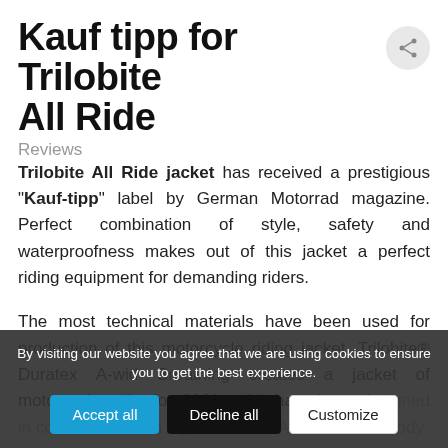Kauf tipp for Trilobite All Ride
Reviews
Trilobite All Ride jacket has received a prestigious "Kauf-tipp" label by German Motorrad magazine. Perfect combination of style, safety and waterproofness makes out of this jacket a perfect riding equipment for demanding riders.
The most technical materials have been used for production of this motorcycle riding jacket. Trilobite® Duratex A-wid Breathing creates a jacket of motorcycle collection 2021 which have been designed in combination with Alpinestars Gr A-tec Tech Air body...
By visiting our website you agree that we are using cookies to ensure you to get the best experience.